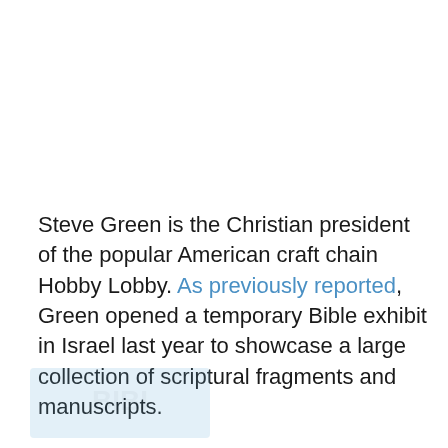Steve Green is the Christian president of the popular American craft chain Hobby Lobby. As previously reported, Green opened a temporary Bible exhibit in Israel last year to showcase a large collection of scriptural fragments and manuscripts.
Now, plans are underway for a permanent Bible museum in the nation's capital that will feature an unprecedented collection of biblical manuscripts owned by the Green family. In a 2012 press